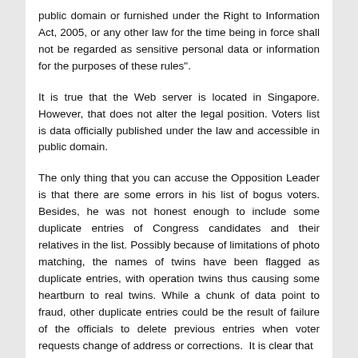public domain or furnished under the Right to Information Act, 2005, or any other law for the time being in force shall not be regarded as sensitive personal data or information for the purposes of these rules".
It is true that the Web server is located in Singapore. However, that does not alter the legal position. Voters list is data officially published under the law and accessible in public domain.
The only thing that you can accuse the Opposition Leader is that there are some errors in his list of bogus voters. Besides, he was not honest enough to include some duplicate entries of Congress candidates and their relatives in the list. Possibly because of limitations of photo matching, the names of twins have been flagged as duplicate entries, with operation twins thus causing some heartburn to real twins. While a chunk of data point to fraud, other duplicate entries could be the result of failure of the officials to delete previous entries when voter requests change of address or corrections.  It is clear that